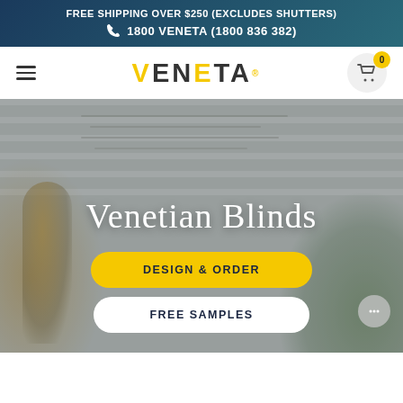FREE SHIPPING OVER $250 (EXCLUDES SHUTTERS)
☎ 1800 VENETA (1800 836 382)
[Figure (logo): VENETA brand logo in dark and yellow text with trademark dot]
[Figure (photo): Hero banner showing venetian blinds on a window with a gold lamp on the left and a green plant on the right, featuring text 'Venetian Blinds' and two buttons: 'DESIGN & ORDER' (yellow) and 'FREE SAMPLES' (white)]